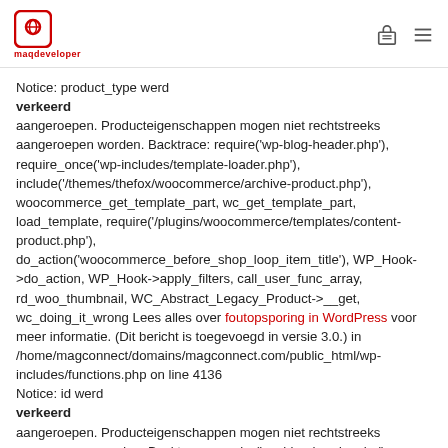maqdeveloper
Notice: product_type werd
verkeerd
aangeroepen. Producteigenschappen mogen niet rechtstreeks aangeroepen worden. Backtrace: require('wp-blog-header.php'), require_once('wp-includes/template-loader.php'), include('/themes/thefox/woocommerce/archive-product.php'), woocommerce_get_template_part, wc_get_template_part, load_template, require('/plugins/woocommerce/templates/content-product.php'), do_action('woocommerce_before_shop_loop_item_title'), WP_Hook->do_action, WP_Hook->apply_filters, call_user_func_array, rd_woo_thumbnail, WC_Abstract_Legacy_Product->__get, wc_doing_it_wrong Lees alles over foutopsporing in WordPress voor meer informatie. (Dit bericht is toegevoegd in versie 3.0.) in /home/magconnect/domains/magconnect.com/public_html/wp-includes/functions.php on line 4136
Notice: id werd
verkeerd
aangeroepen. Producteigenschappen mogen niet rechtstreeks aangeroepen worden. Backtrace: require('wp-blog-header.php'),